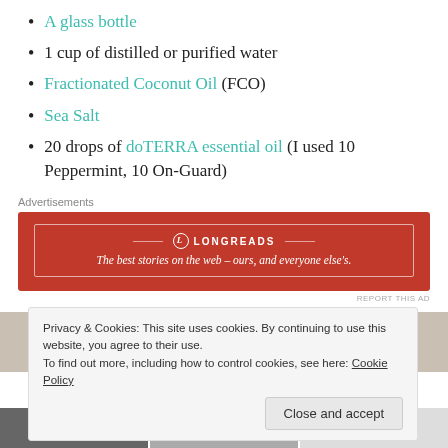A glass bottle
1 cup of distilled or purified water
Fractionated Coconut Oil (FCO)
Sea Salt
20 drops of doTERRA essential oil (I used 10 Peppermint, 10 On-Guard)
Advertisements
[Figure (screenshot): Longreads advertisement banner: red background with text 'The best stories on the web – ours, and everyone else's.']
[Figure (photo): Partial photo strip visible behind cookie overlay]
Privacy & Cookies: This site uses cookies. By continuing to use this website, you agree to their use. To find out more, including how to control cookies, see here: Cookie Policy
Close and accept
[Figure (photo): Bottom strip of photos partially visible]